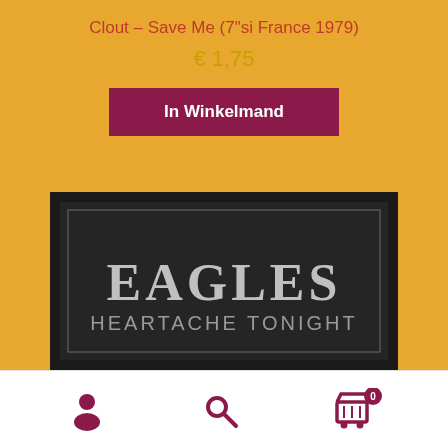Clout – Save Me (7"si France 1979)
€ 1,75
In Winkelmand
[Figure (photo): Eagles – Heartache Tonight album/single cover on dark black background with silver text]
[Figure (infographic): Footer navigation bar with user account icon, search icon, and shopping cart icon with badge showing 0]